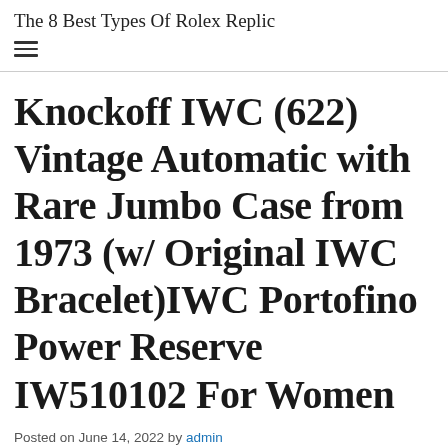The 8 Best Types Of Rolex Replic
Knockoff IWC (622) Vintage Automatic with Rare Jumbo Case from 1973 (w/ Original IWC Bracelet)IWC Portofino Power Reserve IW510102 For Women
Posted on June 14, 2022 by admin